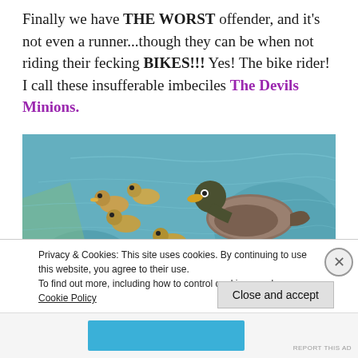Finally we have THE WORST offender, and it's not even a runner...though they can be when not riding their fecking BIKES!!! Yes! The bike rider! I call these insufferable imbeciles The Devils Minions.
[Figure (photo): A duck and several ducklings swimming in water. The mother duck is visible on the right, and about seven ducklings are scattered to the left, swimming in blue-green rippling water.]
Privacy & Cookies: This site uses cookies. By continuing to use this website, you agree to their use.
To find out more, including how to control cookies, see here: Cookie Policy
Close and accept